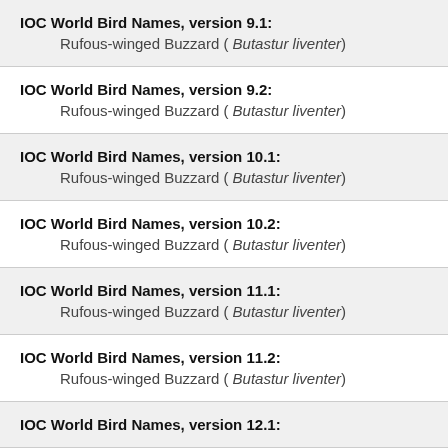IOC World Bird Names, version 9.1: Rufous-winged Buzzard ( Butastur liventer)
IOC World Bird Names, version 9.2: Rufous-winged Buzzard ( Butastur liventer)
IOC World Bird Names, version 10.1: Rufous-winged Buzzard ( Butastur liventer)
IOC World Bird Names, version 10.2: Rufous-winged Buzzard ( Butastur liventer)
IOC World Bird Names, version 11.1: Rufous-winged Buzzard ( Butastur liventer)
IOC World Bird Names, version 11.2: Rufous-winged Buzzard ( Butastur liventer)
IOC World Bird Names, version 12.1: